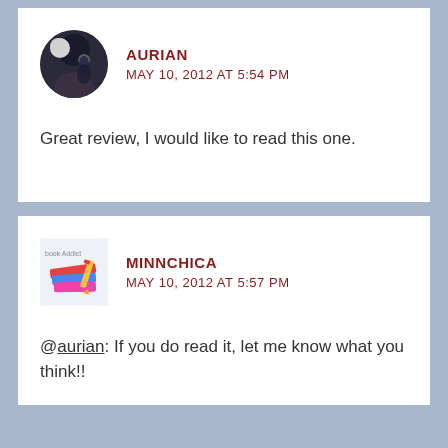AURIAN
MAY 10, 2012 AT 5:54 PM

Great review, I would like to read this one.
MINNCHICA
MAY 10, 2012 AT 5:57 PM

@aurian: If you do read it, let me know what you think!!